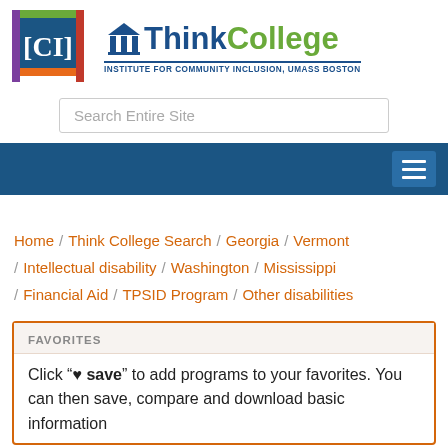[Figure (logo): ICI logo (colored square with letters ICI) and ThinkCollege logo with columns icon and text 'INSTITUTE FOR COMMUNITY INCLUSION, UMASS BOSTON']
[Figure (screenshot): Search bar with placeholder text 'Search Entire Site']
[Figure (screenshot): Dark blue navigation bar with hamburger menu button on the right]
Home / Think College Search / Georgia / Vermont / Intellectual disability / Washington / Mississippi / Financial Aid / TPSID Program / Other disabilities
FAVORITES
Click "♥ save" to add programs to your favorites. You can then save, compare and download basic information